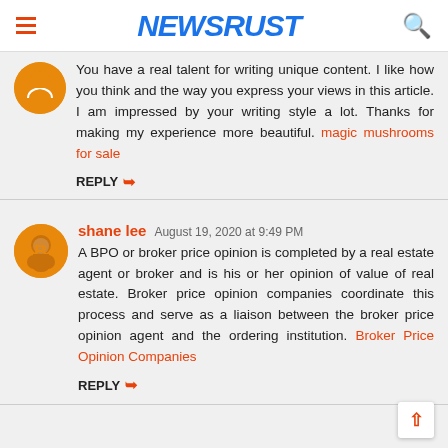NEWSRUST
You have a real talent for writing unique content. I like how you think and the way you express your views in this article. I am impressed by your writing style a lot. Thanks for making my experience more beautiful. magic mushrooms for sale
REPLY
shane lee  August 19, 2020 at 9:49 PM
A BPO or broker price opinion is completed by a real estate agent or broker and is his or her opinion of value of real estate. Broker price opinion companies coordinate this process and serve as a liaison between the broker price opinion agent and the ordering institution. Broker Price Opinion Companies
REPLY